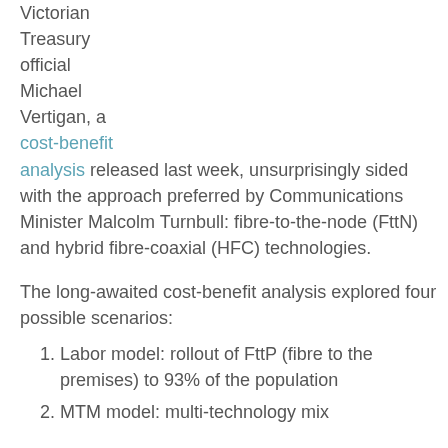Victorian Treasury official Michael Vertigan, a cost-benefit analysis released last week, unsurprisingly sided with the approach preferred by Communications Minister Malcolm Turnbull: fibre-to-the-node (FttN) and hybrid fibre-coaxial (HFC) technologies.
The long-awaited cost-benefit analysis explored four possible scenarios:
Labor model: rollout of FttP (fibre to the premises) to 93% of the population
MTM model: multi-technology mix